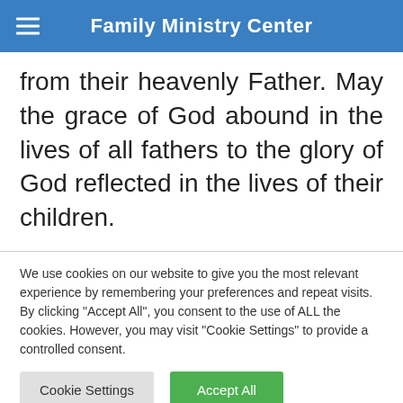Family Ministry Center
from their heavenly Father. May the grace of God abound in the lives of all fathers to the glory of God reflected in the lives of their children.
We use cookies on our website to give you the most relevant experience by remembering your preferences and repeat visits. By clicking "Accept All", you consent to the use of ALL the cookies. However, you may visit "Cookie Settings" to provide a controlled consent.